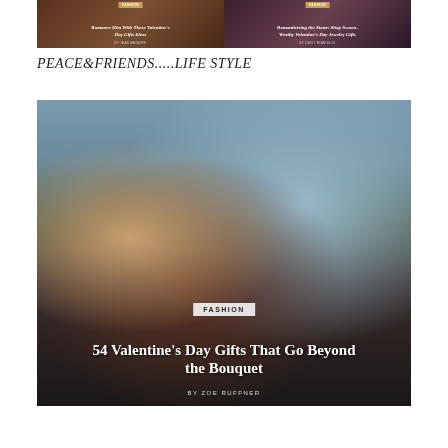[Figure (photo): Two small fashion article thumbnails side by side: left shows 'Romance Him With These Valentine's Day Gifts Ideas' with FASHION badge by Jean Maguire; right shows 'Romanticizing the Stone: Shop Swoon-Worthy Valentine's Day Jewelry Gifts' with FASHION badge by Daisy Miam Elle]
PEACE&FRIENDS.....LIFE STYLE
[Figure (photo): Large fashion photo of a blonde woman and dark-haired man in a restaurant/cafe setting. Woman wears red floral dress. Man wears white shirt. Overlay text shows FASHION badge, headline '54 Valentine's Day Gifts That Go Beyond the Bouquet', byline 'BY ZOE RUFFNER']